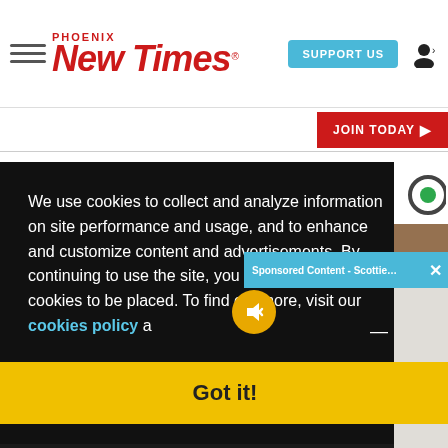Phoenix New Times - SUPPORT US - JOIN TODAY
We use cookies to collect and analyze information on site performance and usage, and to enhance and customize content and advertisements. By continuing to use the site, you agree to allow cookies to be placed. To find out more, visit our cookies policy a...
Sponsored Content - Scottie Scheffler o...
Got it!